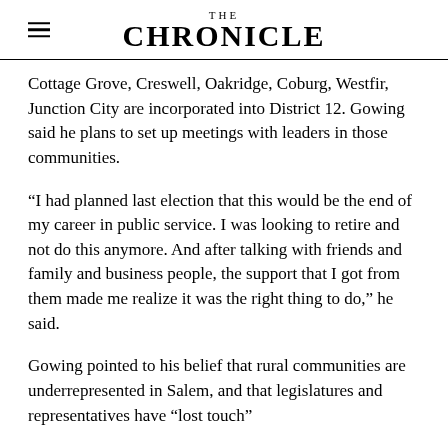THE CHRONICLE
Cottage Grove, Creswell, Oakridge, Coburg, Westfir, Junction City are incorporated into District 12. Gowing said he plans to set up meetings with leaders in those communities.
“I had planned last election that this would be the end of my career in public service. I was looking to retire and not do this anymore. And after talking with friends and family and business people, the support that I got from them made me realize it was the right thing to do,” he said.
Gowing pointed to his belief that rural communities are underrepresented in Salem, and that legislatures and representatives have “lost touch”